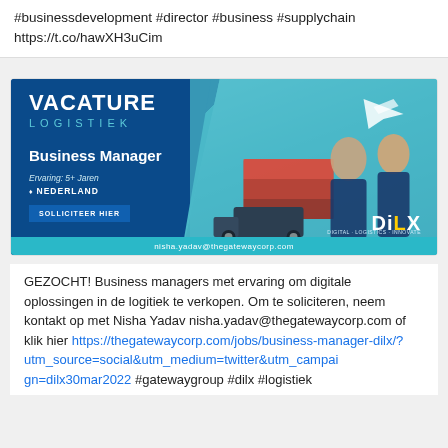#businessdevelopment #director #business #supplychain https://t.co/hawXH3uCim
[Figure (infographic): Job vacancy advertisement banner for 'VACATURE LOGISTIEK' showing a Business Manager position. Left side: dark blue background with white bold text 'VACATURE' and teal subtitle 'LOGISTIEK', job title 'Business Manager', experience '5+ Jaren', location 'NEDERLAND', button 'SOLLICITEER HIER'. Right side: teal background with logistics imagery (truck, containers, airplane) and two smiling professionals. Bottom right: DILX logo. Bottom bar: teal with email nisha.yadav@thegatewaycorp.com]
GEZOCHT! Business managers met ervaring om digitale oplossingen in de logitiek te verkopen. Om te soliciteren, neem kontakt op met Nisha Yadav nisha.yadav@thegatewaycorp.com of klik hier https://thegatewaycorp.com/jobs/business-manager-dilx/? utm_source=social&utm_medium=twitter&utm_campaign=dilx30mar2022 #gatewaygroup #dilx #logistiek